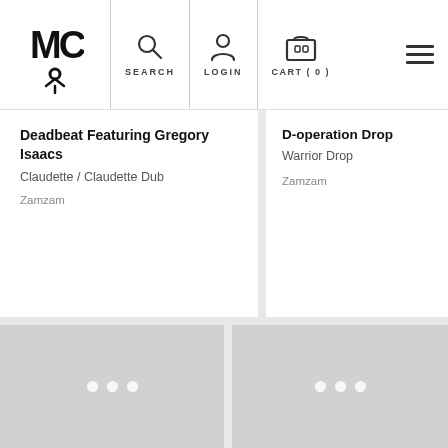MIC logo | SEARCH | LOGIN | CART (0)
Deadbeat Featuring Gregory Isaacs
Claudette / Claudette Dub
Zamzam
D-operation Drop
Warrior Drop
Zamzam
[Figure (other): Loading placeholder card with three white dots]
[Figure (other): Loading placeholder card with three white dots]